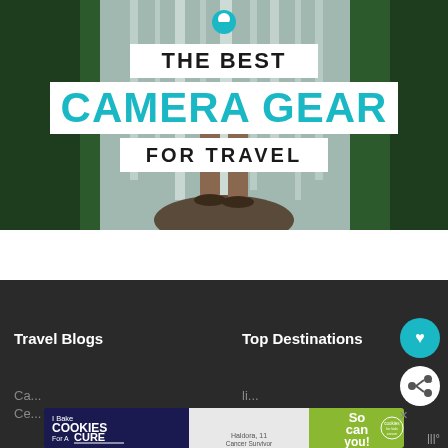[Figure (photo): Travel blog header image showing person's bare feet standing on a rock in front of a large waterfall surrounded by lush green trees. Text overlay reads THE BEST CAMERA GEAR FOR TRAVEL with a location pin logo above.]
Travel Blogs
Top Destinations
[Figure (screenshot): Advertisement banner reading 'I Bake COOKIES For A CURE - Haldora, 11 Cancer Survivor' with cookies for kids cancer branding and 'So can you!' text on green background]